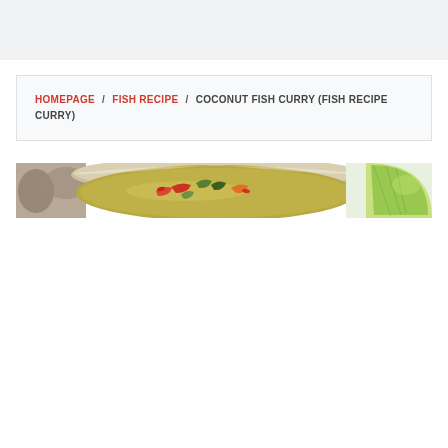HOMEPAGE / FISH RECIPE / COCONUT FISH CURRY (FISH RECIPE CURRY)
[Figure (photo): A partial banner photo showing a bowl of coconut fish curry with vegetables and a lime wedge on the right side.]